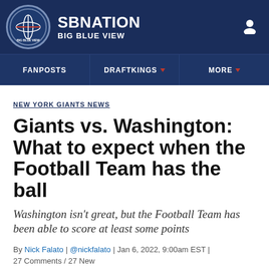SBNATION BIG BLUE VIEW
FANPOSTS | DRAFTKINGS | MORE
NEW YORK GIANTS NEWS
Giants vs. Washington: What to expect when the Football Team has the ball
Washington isn't great, but the Football Team has been able to score at least some points
By Nick Falato | @nickfalato | Jan 6, 2022, 9:00am EST | 27 Comments / 27 New